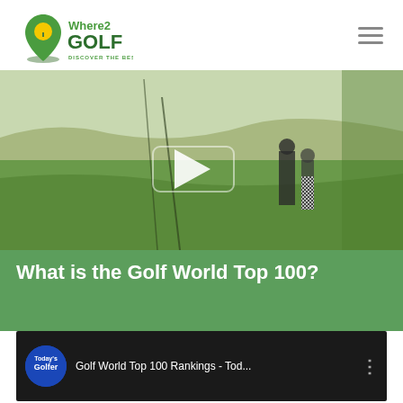[Figure (logo): Where2Golf logo with map pin icon and tagline 'Discover The Best']
[Figure (screenshot): Golf course video thumbnail with play button overlay, showing golfers on green fairway]
What is the Golf World Top 100?
[Figure (screenshot): YouTube embedded video player showing 'Golf World Top 100 Rankings - Tod...' with Today's Golfer channel logo]